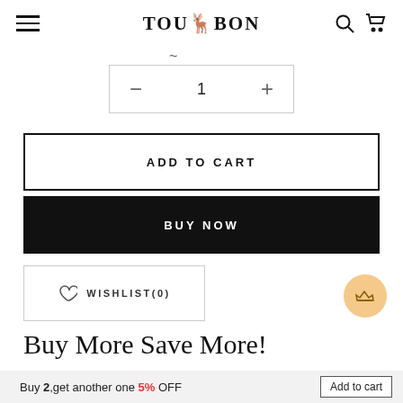TOURBON
1
ADD TO CART
BUY NOW
WISHLIST(0)
Buy More Save More!
Buy 2,get another one 5% OFF  Add to cart